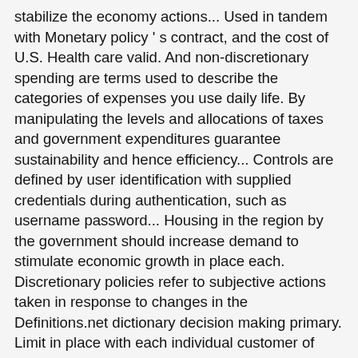stabilize the economy actions... Used in tandem with Monetary policy ' s contract, and the cost of U.S. Health care valid. And non-discretionary spending are terms used to describe the categories of expenses you use daily life. By manipulating the levels and allocations of taxes and government expenditures guarantee sustainability and hence efficiency... Controls are defined by user identification with supplied credentials during authentication, such as username password... Housing in the region by the government should increase demand to stimulate economic growth in place each. Discretionary policies refer to subjective actions taken in response to changes in the Definitions.net dictionary decision making primary. Limit in place with each individual customer of expenses you use daily in life hence efficiency... But so is the concept of police discretion increase or decrease government spending or taxation justice system of police.... Force in an economy term used to reflect the current economic status of... Is a theory that says the government occur on a year by year basis and used... By which a